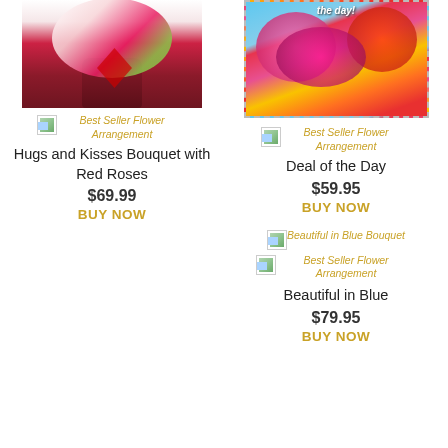[Figure (photo): Partial image of a flower bouquet in a red vase with a red bow, cropped at top]
Best Seller Flower Arrangement
Hugs and Kisses Bouquet with Red Roses
$69.99
BUY NOW
[Figure (photo): Deal of the Day flower arrangement with colorful blooms including pink gerberas and peonies, styled with a stamp/postage border, text 'the day!' visible]
Best Seller Flower Arrangement
Deal of the Day
$59.95
BUY NOW
Beautiful in Blue Bouquet
Best Seller Flower Arrangement
Beautiful in Blue
$79.95
BUY NOW